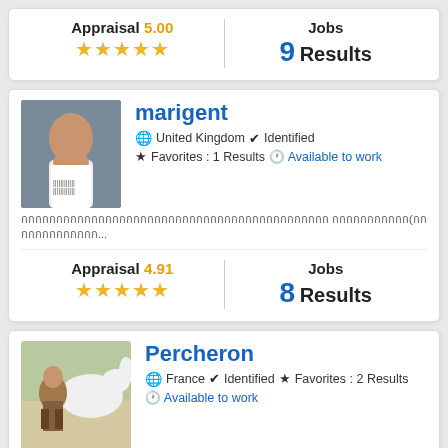Appraisal 5.00 ★★★★★ | Jobs 9 Results
[Figure (photo): Profile photo of marigent - woman with short hair]
marigent
🌐 United Kingdom ✔ Identified ★Favorites : 1 Results 🕐 Available to work
Japanese text description...
Appraisal 4.91 ★★★★★ | Jobs 8 Results
[Figure (photo): Profile photo of Percheron - person with white horse]
Percheron
🌐 France ✔ Identified ★Favorites : 2 Results 🕐 Available to work
Trilingual (English, French and Japanese) translator, writer and editor with over 35 years' experience in working in and with Japan. Wide-ranging exper...
Appraisal 5.00 ★★★★ | Jobs 6 Results